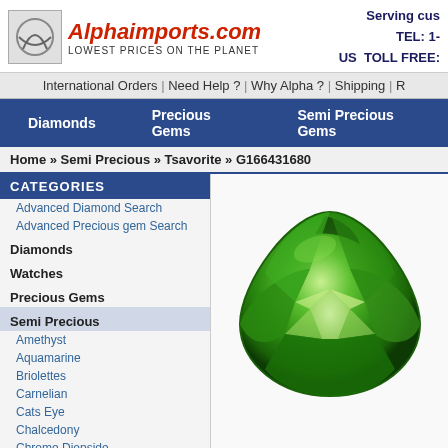[Figure (logo): Alphaimports.com logo with stylized A icon and tagline 'LOWEST PRICES ON THE PLANET']
Serving cu... TEL: 1-... US TOLL FREE:
International Orders | Need Help ? | Why Alpha ? | Shipping | R
Diamonds | Precious Gems | Semi Precious Gems
Home » Semi Precious » Tsavorite » G166431680
CATEGORIES
Advanced Diamond Search
Advanced Precious gem Search
Diamonds
Watches
Precious Gems
Semi Precious
Amethyst
Aquamarine
Briolettes
Carnelian
Cats Eye
Chalcedony
Chrome Diopside
Chrysoprase
Citrine
Coral
Drusy Quartz
Fluorite
Garnet
Hematite
Iolite
Kunzite
[Figure (photo): A vivid green trillion-cut Tsavorite gemstone with star reflection pattern, G166431680]